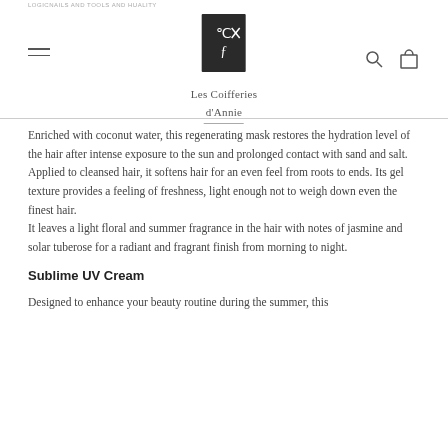Les Coifferies d'Annie — navigation header with logo, hamburger menu, search and cart icons
Enriched with coconut water, this regenerating mask restores the hydration level of the hair after intense exposure to the sun and prolonged contact with sand and salt. Applied to cleansed hair, it softens hair for an even feel from roots to ends. Its gel texture provides a feeling of freshness, light enough not to weigh down even the finest hair.
It leaves a light floral and summer fragrance in the hair with notes of jasmine and solar tuberose for a radiant and fragrant finish from morning to night.
Sublime UV Cream
Designed to enhance your beauty routine during the summer, this